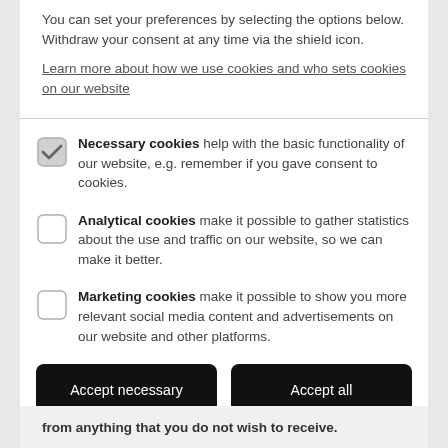You can set your preferences by selecting the options below. Withdraw your consent at any time via the shield icon.
Learn more about how we use cookies and who sets cookies on our website
Necessary cookies help with the basic functionality of our website, e.g. remember if you gave consent to cookies.
Analytical cookies make it possible to gather statistics about the use and traffic on our website, so we can make it better.
Marketing cookies make it possible to show you more relevant social media content and advertisements on our website and other platforms.
Accept necessary
Accept all
from anything that you do not wish to receive.